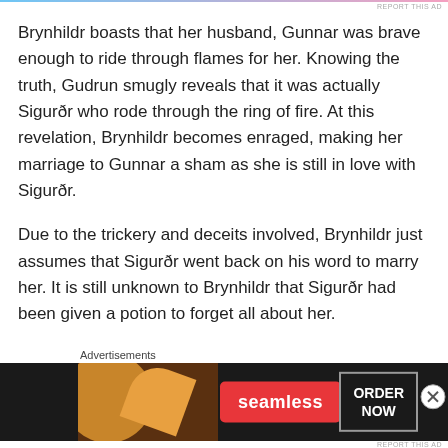REPORT THIS AD
Brynhildr boasts that her husband, Gunnar was brave enough to ride through flames for her. Knowing the truth, Gudrun smugly reveals that it was actually Sigurðr who rode through the ring of fire. At this revelation, Brynhildr becomes enraged, making her marriage to Gunnar a sham as she is still in love with Sigurðr.
Due to the trickery and deceits involved, Brynhildr just assumes that Sigurðr went back on his word to marry her. It is still unknown to Brynhildr that Sigurðr had been given a potion to forget all about her.
Just remember, Hel hath no fury like a woman scorned.
Advertisements
[Figure (other): Seamless pizza advertisement banner with 'ORDER NOW' button]